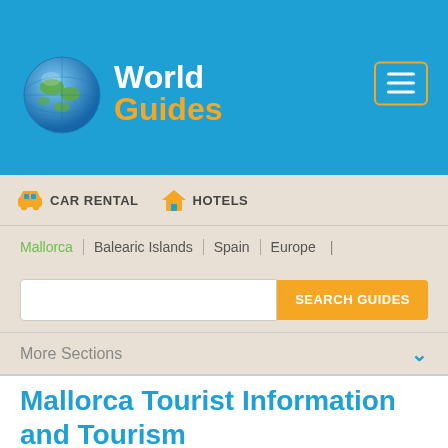[Figure (logo): World Guides logo with globe icon and text 'World Guides' where 'World' is white and 'Guides' is orange, on blue background]
[Figure (other): Hamburger menu button with three horizontal lines in a gold/orange bordered rectangle]
CAR RENTAL   HOTELS
Mallorca | Balearic Islands | Spain | Europe |
SEARCH GUIDES
More Sections
Mallorca Tourist Information and Tourism
(Mallorca / Majorca, Balearic Islands, Spain)